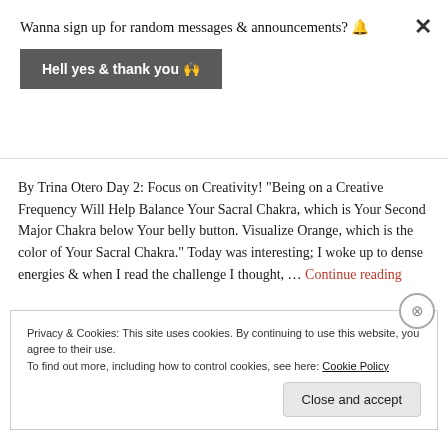Wanna sign up for random messages & announcements? 🔔
Hell yes & thank you 🙌
By Trina Otero Day 2: Focus on Creativity! "Being on a Creative Frequency Will Help Balance Your Sacral Chakra, which is Your Second Major Chakra below Your belly button. Visualize Orange, which is the color of Your Sacral Chakra." Today was interesting; I woke up to dense energies & when I read the challenge I thought, … Continue reading
Privacy & Cookies: This site uses cookies. By continuing to use this website, you agree to their use.
To find out more, including how to control cookies, see here: Cookie Policy
Close and accept